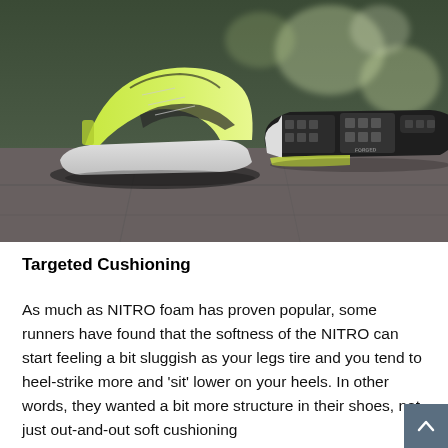[Figure (photo): Product photo of PUMA running shoes (yellow-green/lime colorway) displayed on a stone/pavement surface — one shoe upright showing the side profile with PUMA branding, one shoe flat showing the black rubber outsole. Blurred urban background.]
Targeted Cushioning
As much as NITRO foam has proven popular, some runners have found that the softness of the NITRO can start feeling a bit sluggish as your legs tire and you tend to heel-strike more and 'sit' lower on your heels. In other words, they wanted a bit more structure in their shoes, not just out-and-out soft cushioning